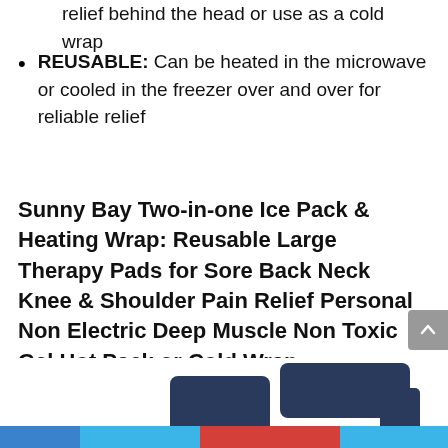relief behind the head or use as a cold wrap
REUSABLE: Can be heated in the microwave or cooled in the freezer over and over for reliable relief
Sunny Bay Two-in-one Ice Pack & Heating Wrap: Reusable Large Therapy Pads for Sore Back Neck Knee & Shoulder Pain Relief Personal Non Electric Deep Muscle Non Toxic Gel Hot Pack or Cold Wrap
[Figure (photo): Product photo showing navy blue heating/ice wrap pads with a green -18% discount badge, partially cropped at bottom of page, with colored social sharing bar along the bottom edge]